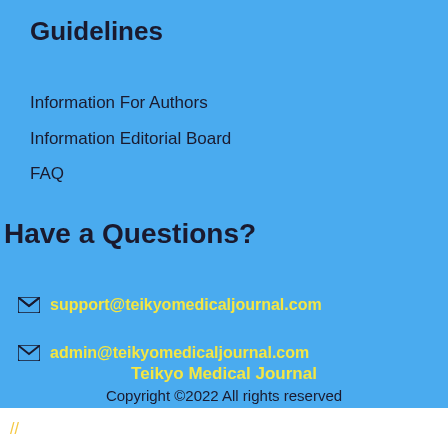Guidelines
Information For Authors
Information Editorial Board
FAQ
Have a Questions?
support@teikyomedicaljournal.com
admin@teikyomedicaljournal.com
Teikyo Medical Journal
Copyright ©2022 All rights reserved
//